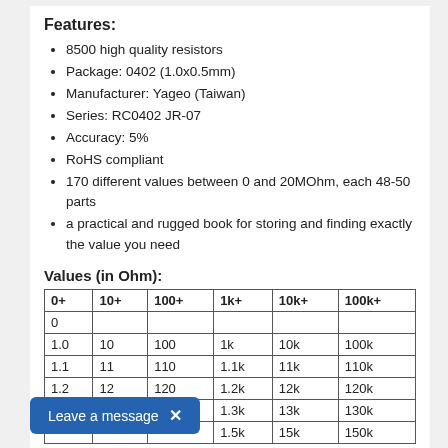Features:
8500 high quality resistors
Package: 0402 (1.0x0.5mm)
Manufacturer: Yageo (Taiwan)
Series: RC0402 JR-07
Accuracy: 5%
RoHS compliant
170 different values between 0 and 20MOhm, each 48-50 parts
a practical and rugged book for storing and finding exactly the value you need
Values (in Ohm):
| 0+ | 10+ | 100+ | 1k+ | 10k+ | 100k+ |
| --- | --- | --- | --- | --- | --- |
| 0 |  |  |  |  |  |
| 1.0 | 10 | 100 | 1k | 10k | 100k |
| 1.1 | 11 | 110 | 1.1k | 11k | 110k |
| 1.2 | 12 | 120 | 1.2k | 12k | 120k |
|  |  |  | 1.3k | 13k | 130k |
|  |  |  | 1.5k | 15k | 150k |